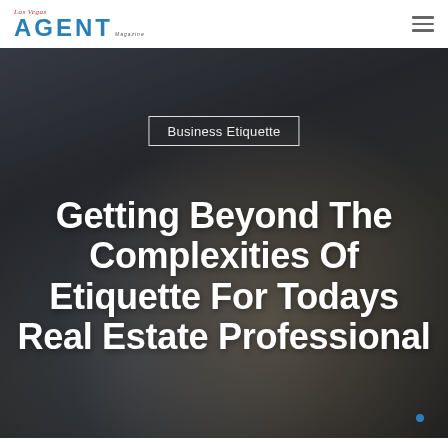Las Vegas AGENT Magazine
[Figure (photo): Two people shaking hands in a business setting, dark blurred office background]
Business Etiquette
Getting Beyond The Complexities Of Etiquette For Todays Real Estate Professional